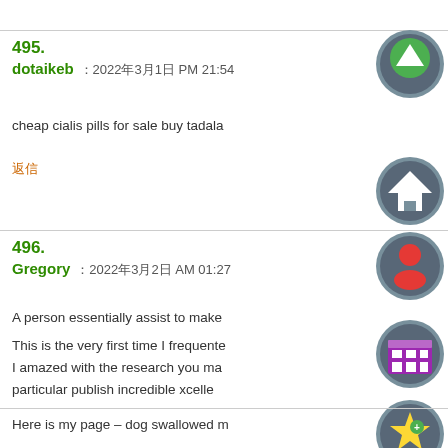495. dotaikeb : 2022年3月1日 PM 21:54
cheap cialis pills for sale buy tadala
返信
496. Gregory : 2022年3月2日 AM 01:27
A person essentially assist to make
This is the very first time I frequente
I amazed with the research you ma
particular publish incredible xcelle
Here is my page – dog swallowed m